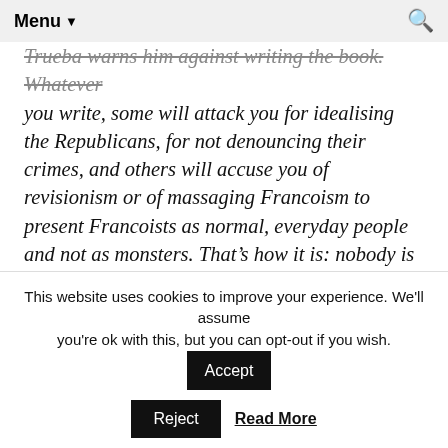Menu ▼
Trueba warns him against writing the book. Whatever you write, some will attack you for idealising the Republicans, for not denouncing their crimes, and others will accuse you of revisionism or of massaging Francoism to present Francoists as normal, everyday people and not as monsters. That's how it is: nobody is interested in the truth; haven't you realised that? Nevertheless they head for Ibahernando and discuss the project en route.

They go to Ibahernando to interview a man known as The Shearer, because he sheared the local animals. We know
This website uses cookies to improve your experience. We'll assume you're ok with this, but you can opt-out if you wish.
Reject  Read More  Accept